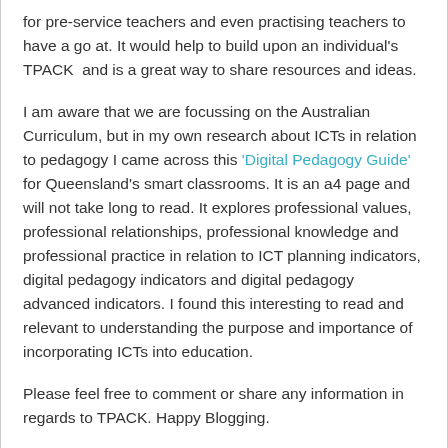for pre-service teachers and even practising teachers to have a go at. It would help to build upon an individual's TPACK  and is a great way to share resources and ideas.
I am aware that we are focussing on the Australian Curriculum, but in my own research about ICTs in relation to pedagogy I came across this 'Digital Pedagogy Guide' for Queensland's smart classrooms. It is an a4 page and will not take long to read. It explores professional values, professional relationships, professional knowledge and professional practice in relation to ICT planning indicators, digital pedagogy indicators and digital pedagogy advanced indicators. I found this interesting to read and relevant to understanding the purpose and importance of incorporating ICTs into education.
Please feel free to comment or share any information in regards to TPACK. Happy Blogging.
Nadine 😊